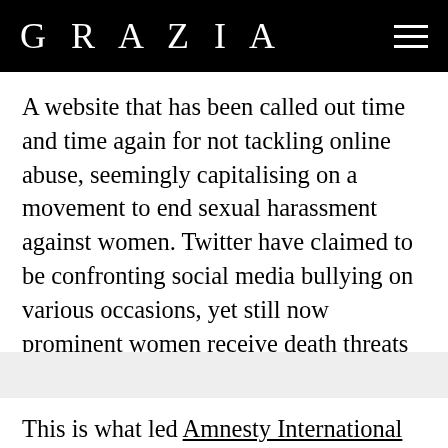GRAZIA
A website that has been called out time and time again for not tackling online abuse, seemingly capitalising on a movement to end sexual harassment against women. Twitter have claimed to be confronting social media bullying on various occasions, yet still now prominent women receive death threats daily, alongside torrents of vile, prejudiced abuse.
This is what led Amnesty International to launch their Toxic Twitter campaign, writing an open letter to Twitter CEO Jack Dorsey, which was